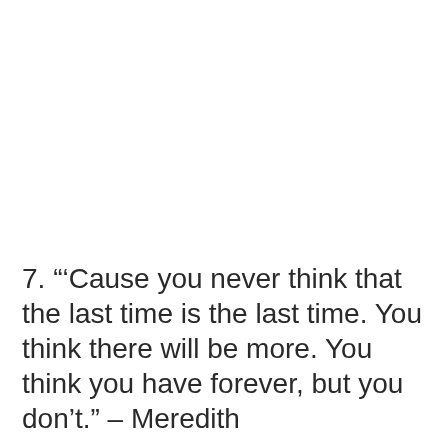7. “’Cause you never think that the last time is the last time. You think there will be more. You think you have forever, but you don’t.” – Meredith